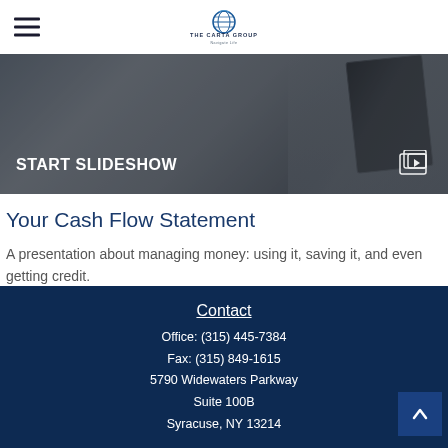THE CARTA GROUP — Navigate Life
[Figure (screenshot): Hero banner image showing a hand holding a tablet/dark device, with overlay text 'START SLIDESHOW' and a slideshow play icon on the right.]
Your Cash Flow Statement
A presentation about managing money: using it, saving it, and even getting credit.
Contact
Office: (315) 445-7384
Fax: (315) 849-1615
5790 Widewaters Parkway
Suite 100B
Syracuse, NY 13214